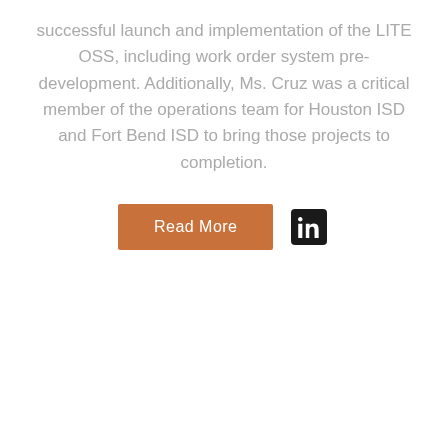successful launch and implementation of the LITE OSS, including work order system pre-development. Additionally, Ms. Cruz was a critical member of the operations team for Houston ISD and Fort Bend ISD to bring those projects to completion.
[Figure (other): Orange 'Read More' button and LinkedIn icon button side by side]